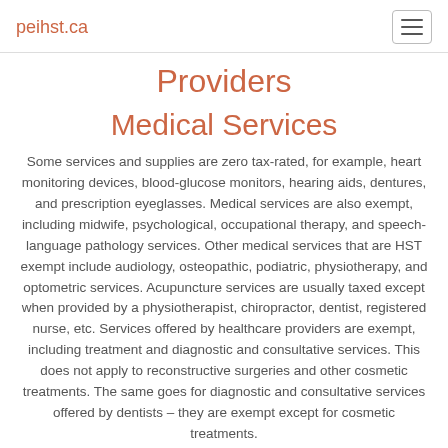peihst.ca
Providers
Medical Services
Some services and supplies are zero tax-rated, for example, heart monitoring devices, blood-glucose monitors, hearing aids, dentures, and prescription eyeglasses. Medical services are also exempt, including midwife, psychological, occupational therapy, and speech-language pathology services. Other medical services that are HST exempt include audiology, osteopathic, podiatric, physiotherapy, and optometric services. Acupuncture services are usually taxed except when provided by a physiotherapist, chiropractor, dentist, registered nurse, etc. Services offered by healthcare providers are exempt, including treatment and diagnostic and consultative services. This does not apply to reconstructive surgeries and other cosmetic treatments. The same goes for diagnostic and consultative services offered by dentists – they are exempt except for cosmetic treatments.